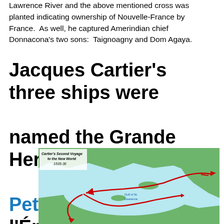Lawrence River and the above mentioned cross was planted indicating ownership of Nouvelle-France by France.  As well, he captured Amerindian chief Donnacona’s two sons:  Taignoagny and Dom Agaya.
Jacques Cartier’s three ships were named the Grande Hermine, la Petite Hermine and l’Émérillon.
[Figure (map): Map titled 'Cartier's Second Voyage to the New World 1535-36' showing the Gulf of St. Lawrence region with red arrows indicating the voyage route along the coastline.]